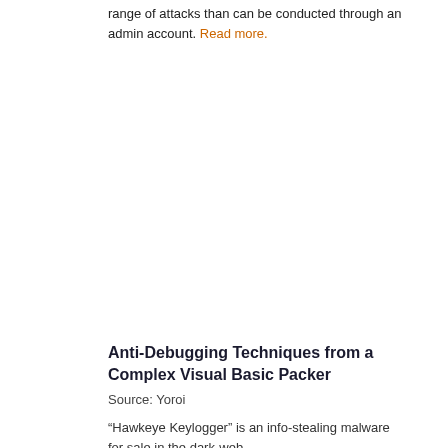range of attacks than can be conducted through an admin account. Read more.
Anti-Debugging Techniques from a Complex Visual Basic Packer
Source: Yoroi
"Hawkeye Keylogger" is an info-stealing malware for sale in the dark-web.